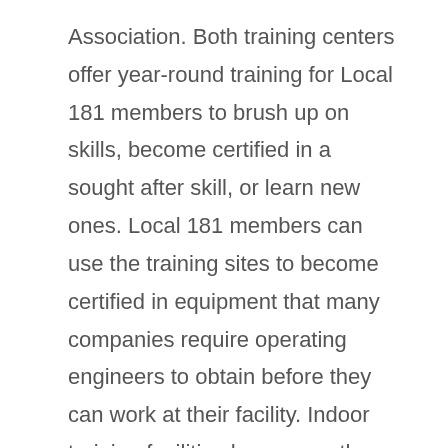Association. Both training centers offer year-round training for Local 181 members to brush up on skills, become certified in a sought after skill, or learn new ones. Local 181 members can use the training sites to become certified in equipment that many companies require operating engineers to obtain before they can work at their facility. Indoor training facilities have recently been added to both training sites, so regardless of whether members may train and upgrade their skills year round.